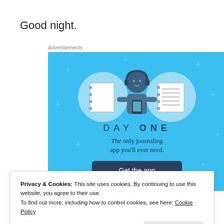Good night.
Advertisements
[Figure (illustration): Day One journaling app advertisement on a blue background. Shows three circular icons with notebook/journal illustrations and a cartoon figure of a person holding a phone. Text reads 'DAY ONE' and 'The only journaling app you'll ever need.' with a 'Get the app' button.]
Privacy & Cookies: This site uses cookies. By continuing to use this website, you agree to their use.
To find out more, including how to control cookies, see here: Cookie Policy
Close and accept
Email   Print   Tweet